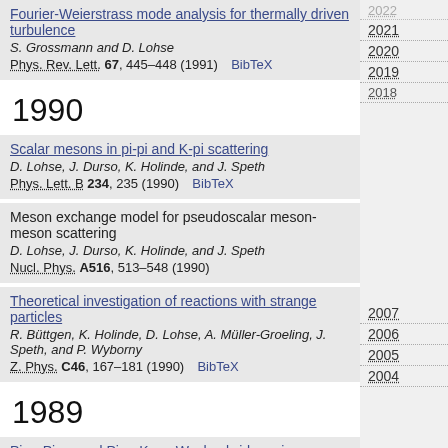Fourier-Weierstrass mode analysis for thermally driven turbulence
S. Grossmann and D. Lohse
Phys. Rev. Lett. 67, 445–448 (1991) BibTeX
1990
Scalar mesons in pi-pi and K-pi scattering
D. Lohse, J. Durso, K. Holinde, and J. Speth
Phys. Lett. B 234, 235 (1990) BibTeX
Meson exchange model for pseudoscalar meson-meson scattering
D. Lohse, J. Durso, K. Holinde, and J. Speth
Nucl. Phys. A516, 513–548 (1990)
Theoretical investigation of reactions with strange particles
R. Büttgen, K. Holinde, D. Lohse, A. Müller-Groeling, J. Speth, and P. Wyborny
Z. Phys. C46, 167–181 (1990) BibTeX
1989
Pion-Pion- und Pion-Kaon Wechselwirkung im Mesonaustauschbild
D. Lohse